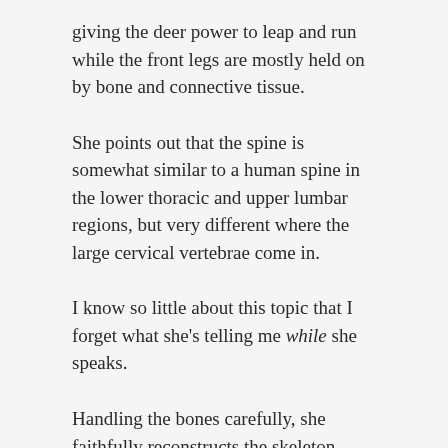giving the deer power to leap and run while the front legs are mostly held on by bone and connective tissue.
She points out that the spine is somewhat similar to a human spine in the lower thoracic and upper lumbar regions, but very different where the large cervical vertebrae come in.
I know so little about this topic that I forget what she’s telling me while she speaks.
Handling the bones carefully, she faithfully reconstructs the skeleton. She’s so deeply engrossed in the project that she hasn’t come in for lunch or bothered to put on a jacket to ward off the chill.
Her interests are far different than mine, but I know